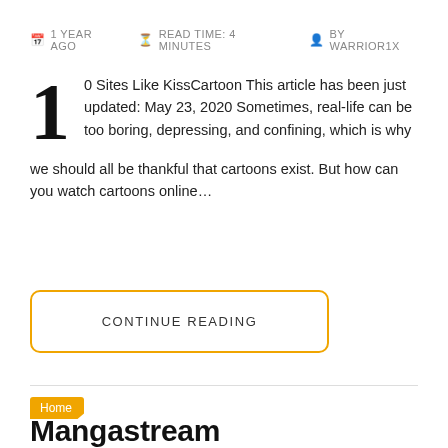1 YEAR AGO   READ TIME: 4 MINUTES   BY WARRIOR1X
0 Sites Like KissCartoon This article has been just updated: May 23, 2020 Sometimes, real-life can be too boring, depressing, and confining, which is why we should all be thankful that cartoons exist. But how can you watch cartoons online…
CONTINUE READING
Home
Mangastream